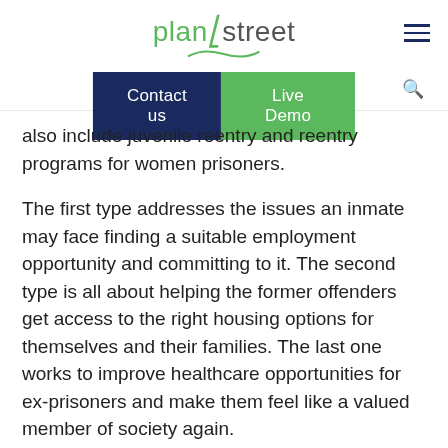planstreet — Contact us | Live Demo
also include juvenile reentry and reentry programs for women prisoners.
The first type addresses the issues an inmate may face finding a suitable employment opportunity and committing to it. The second type is all about helping the former offenders get access to the right housing options for themselves and their families. The last one works to improve healthcare opportunities for ex-prisoners and make them feel like a valued member of society again.